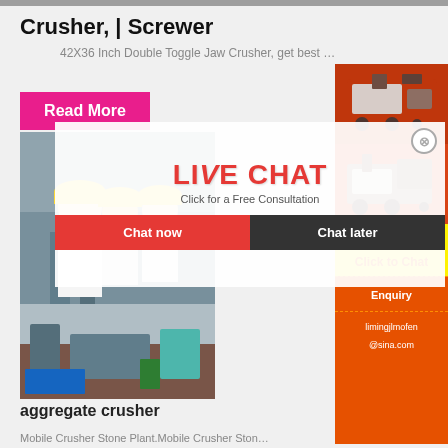Crusher, | Screwer
42X36 Inch Double Toggle Jaw Crusher, get best …
[Figure (screenshot): Pink 'Read More' button overlay on a construction scene with live chat popup showing workers in hard hats, 'LIVE CHAT' title, 'Click for a Free Consultation', 'Chat now' and 'Chat later' buttons, and orange sidebar with machinery images, discount bar, enquiry and email links]
aggregate crusher
Mobile Crusher Stone Plant.Mobile Crusher Ston…